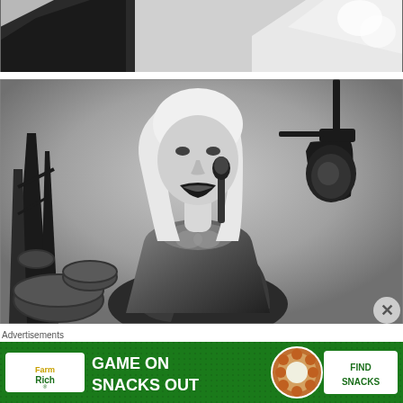[Figure (photo): Black and white partial photo showing what appears to be a hand or clothing detail at the top of the page, cropped]
[Figure (photo): Black and white photo of a young blonde woman singing into a microphone on stage, with a stage lamp visible in the background and drum equipment on the left]
Advertisements
[Figure (other): FarmRich advertisement banner with green background showing 'GAME ON SNACKS OUT' text, food imagery, and 'FIND SNACKS' call to action button]